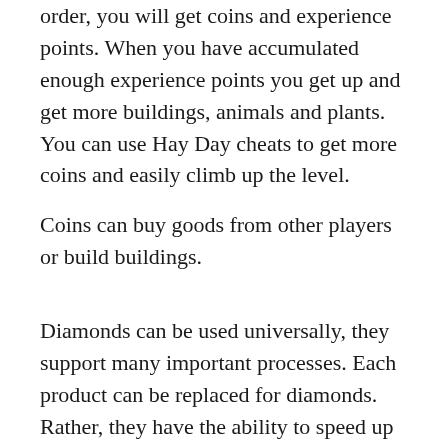order, you will get coins and experience points. When you have accumulated enough experience points you get up and get more buildings, animals and plants. You can use Hay Day cheats to get more coins and easily climb up the level.
Coins can buy goods from other players or build buildings.
Diamonds can be used universally, they support many important processes. Each product can be replaced for diamonds. Rather, they have the ability to speed up the production of goods so you do not have to wait for your goods. Another aspect is that you can expand your barn with diamonds. If you do this you will have much more space for plants and manufactured goods